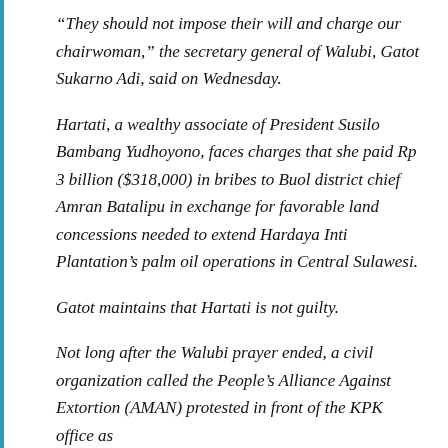“They should not impose their will and charge our chairwoman,” the secretary general of Walubi, Gatot Sukarno Adi, said on Wednesday.
Hartati, a wealthy associate of President Susilo Bambang Yudhoyono, faces charges that she paid Rp 3 billion ($318,000) in bribes to Buol district chief Amran Batalipu in exchange for favorable land concessions needed to extend Hardaya Inti Plantation’s palm oil operations in Central Sulawesi.
Gatot maintains that Hartati is not guilty.
Not long after the Walubi prayer ended, a civil organization called the People’s Alliance Against Extortion (AMAN) protested in front of the KPK office as